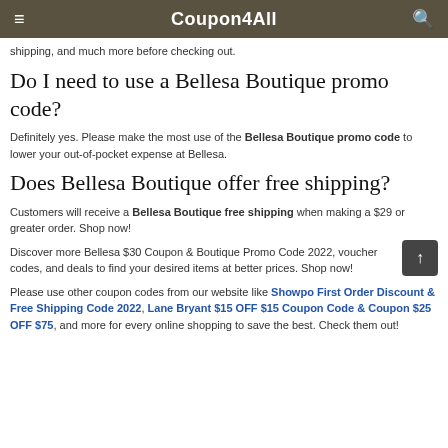Coupon4All
shipping, and much more before checking out.
Do I need to use a Bellesa Boutique promo code?
Definitely yes. Please make the most use of the Bellesa Boutique promo code to lower your out-of-pocket expense at Bellesa.
Does Bellesa Boutique offer free shipping?
Customers will receive a Bellesa Boutique free shipping when making a $29 or greater order. Shop now!
Discover more Bellesa $30 Coupon & Boutique Promo Code 2022, voucher codes, and deals to find your desired items at better prices. Shop now!
Please use other coupon codes from our website like Showpo First Order Discount & Free Shipping Code 2022, Lane Bryant $15 OFF $15 Coupon Code & Coupon $25 OFF $75, and more for every online shopping to save the best. Check them out!